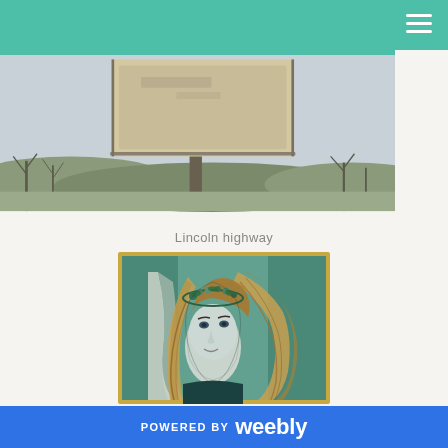[Figure (photo): Photograph of a billboard on a pole against a winter landscape with bare trees and distant hills. The billboard structure is mounted on a metal pole, set against a gray sky.]
Lincoln highway
[Figure (illustration): Artwork illustration of a young woman with long flowing hair wearing a floral crown/wreath. The style is painterly with teal/green tones on a textured background with a golden frame border. She wears a dark dress and looks contemplative.]
truth seeker
POWERED BY weebly